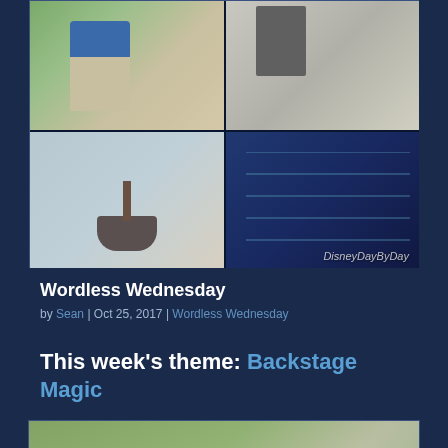[Figure (photo): Collage of four photos from a Disney backstage greenhouse/nursery area: top-left shows a cast member in blue shirt in a greenhouse facility, top-right shows equipment/machinery, bottom-left shows a small potted tree or bonsai, bottom-right shows shelving units with plants under LED grow lights. Watermark reads 'DisneyDayByDay'.]
Wordless Wednesday
by Sean | Oct 25, 2017 | Wordless Wednesday
This week’s theme: Backstage Magic
[Figure (photo): Partial view of another outdoor/greenhouse photo, blurred at bottom of page.]